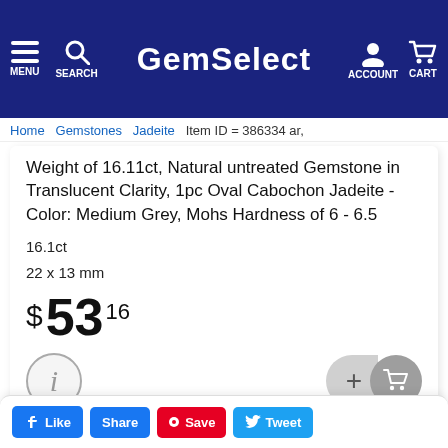GemSelect — MENU SEARCH ACCOUNT CART
Home > Gemstones > Jadeite > Item ID = 386334
Weight of 16.11ct, Natural untreated Gemstone in Translucent Clarity, 1pc Oval Cabochon Jadeite - Color: Medium Grey, Mohs Hardness of 6 - 6.5
16.1ct
22 x 13 mm
$ 53 16
Buy Now